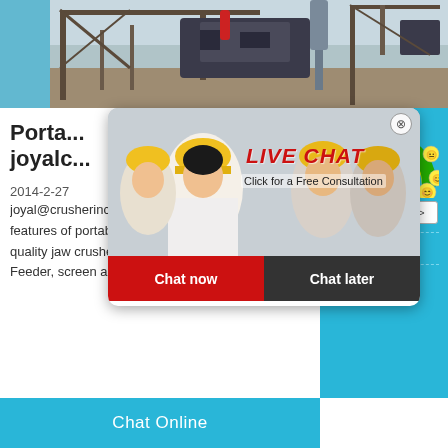[Figure (photo): Industrial crushing/mining equipment on a construction site with blue sky and steel scaffolding.]
Portable... joyalc...
2014-2-27
joyal@crusherinc >> Http://joyalcrusher ... features of portable crushing plant Built w... quality jaw crusher, cone crusher and imp... Feeder, screen and belt conveyor on boar...
[Figure (photo): Live Chat popup overlay with workers wearing yellow hard hats. Text: LIVE CHAT Click for a Free Consultation. Buttons: Chat now, Chat later.]
[Figure (infographic): Right sidebar with gauge/meter graphic showing emoji faces and a speedometer arc in green/yellow. Text: best state for you!, Click me to chat >>, Enquiry, cywaitml@gmail.com]
Chat Online